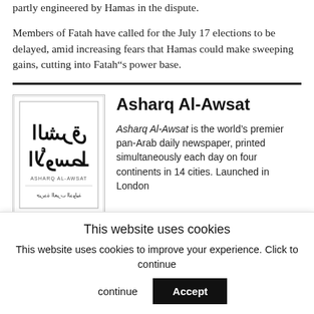partly engineered by Hamas in the dispute.
Members of Fatah have called for the July 17 elections to be delayed, amid increasing fears that Hamas could make sweeping gains, cutting into Fatah’s power base.
[Figure (logo): Asharq Al-Awsat newspaper logo with Arabic text and Latin subtitle 'ASHARQ AL-AWSAT' and Arabic tagline]
Asharq Al-Awsat
Asharq Al-Awsat is the world’s premier pan-Arab daily newspaper, printed simultaneously each day on four continents in 14 cities. Launched in London
This website uses cookies
This website uses cookies to improve your experience. Click to continue
Accept